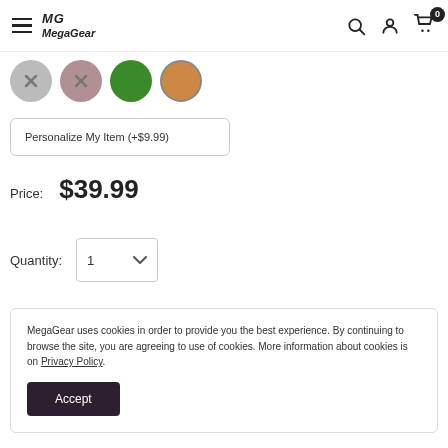MegaGear [hamburger menu, search, account, cart icons]
[Figure (other): Four color swatches: gray with X, mauve/pink with X, green (selected), tan/orange with border]
Personalize My Item (+$9.99)
Price:  $39.99
Quantity:  1
MegaGear uses cookies in order to provide you the best experience. By continuing to browse the site, you are agreeing to use of cookies. More information about cookies is on Privacy Policy.
Accept